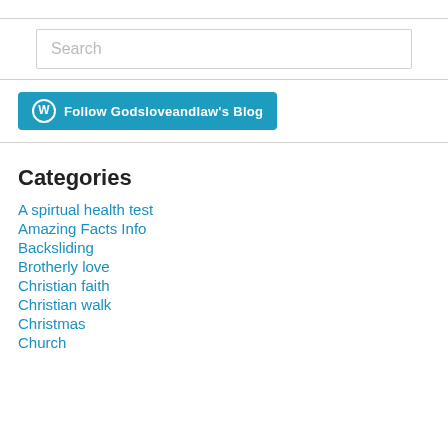[Figure (screenshot): Search input box with placeholder text 'Search']
[Figure (other): Blue WordPress follow button: Follow Godsloveandlaw's Blog]
Categories
A spirtual health test
Amazing Facts Info
Backsliding
Brotherly love
Christian faith
Christian walk
Christmas
Church